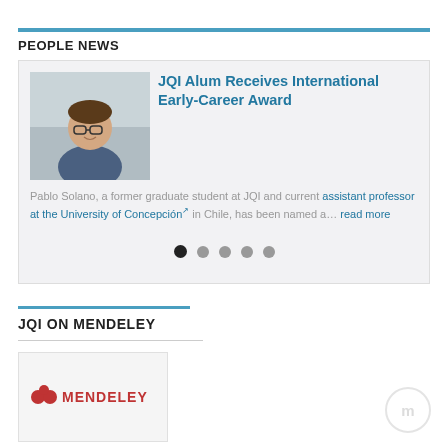PEOPLE NEWS
JQI Alum Receives International Early-Career Award
Pablo Solano, a former graduate student at JQI and current assistant professor at the University of Concepción in Chile, has been named a… read more
JQI ON MENDELEY
[Figure (logo): Mendeley logo — red Mendeley wordmark with icon on light grey background]